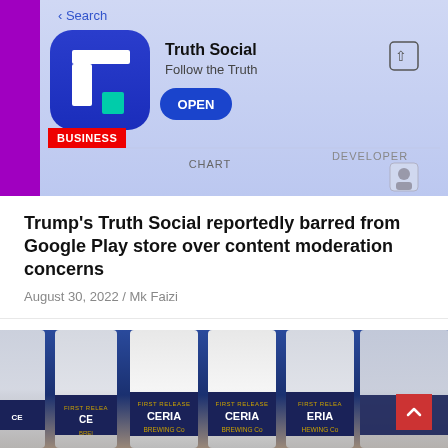[Figure (screenshot): Truth Social app store listing screenshot on a smartphone, showing the Truth Social icon (blue square with white T and teal square), app name 'Truth Social', tagline 'Follow the Truth', and OPEN button. Background has purple/pink gradient from phone edge. Bottom shows CHART and DEVELOPER tabs.]
BUSINESS
Trump's Truth Social reportedly barred from Google Play store over content moderation concerns
August 30, 2022 / Mk Faizi
[Figure (photo): Close-up photo of silver/aluminum Ceria Brewing Co. beer bottles with blue and gold labels reading 'FIRST RELEASE', 'CERIA BREWING CO.' on a blue background.]